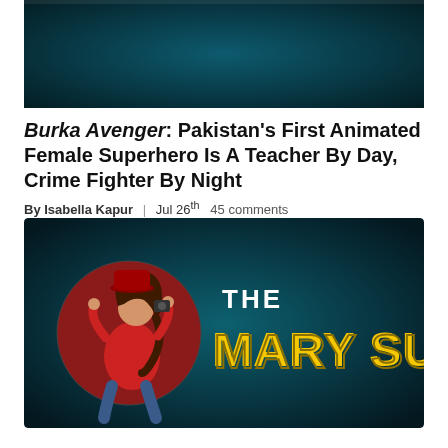[Figure (screenshot): Top portion of a dark teal/blue image, partially cropped at top of page]
Burka Avenger: Pakistan's First Animated Female Superhero Is A Teacher By Day, Crime Fighter By Night
By Isabella Kapur | Jul 26th  45 comments
[Figure (logo): The Mary Sue logo on dark teal background — circular cartoon illustration of a woman with dark hair wearing a red top, next to bold text reading 'THE MARY SUE' in white and yellow]